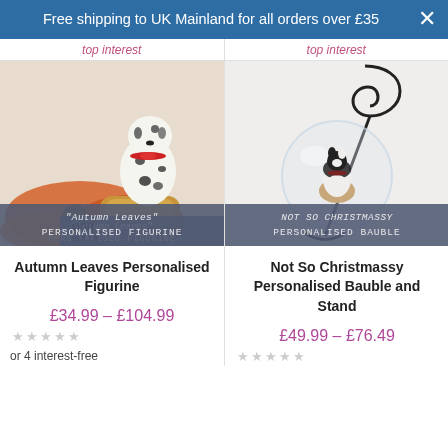Free shipping to UK Mainland for all orders over £35
[Figure (photo): Dalmatian dog figurine on autumn leaves background with 'Autumn Leaves Personalised Figurine' label overlay]
Autumn Leaves Personalised Figurine
£34.99 – £104.99
or 4 interest-free
[Figure (photo): Dog figurine inside a glass bauble on a stand with 'Not So Christmassy Personalised Bauble' label overlay]
Not So Christmassy Personalised Bauble and Stand
£49.99 – £76.49